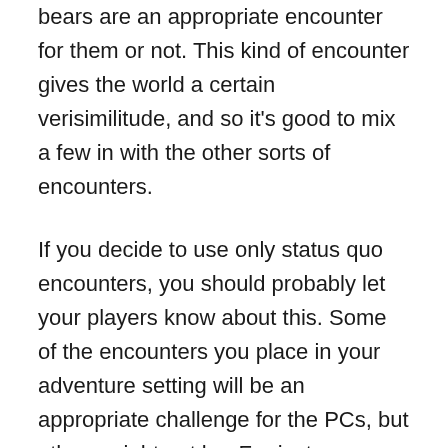bears are an appropriate encounter for them or not. This kind of encounter gives the world a certain verisimilitude, and so it's good to mix a few in with the other sorts of encounters.
If you decide to use only status quo encounters, you should probably let your players know about this. Some of the encounters you place in your adventure setting will be an appropriate challenge for the PCs, but others might not be. For instance, you could decide where the dragon's lair is long before the characters are experienced enough to survive a fight against the dragon.